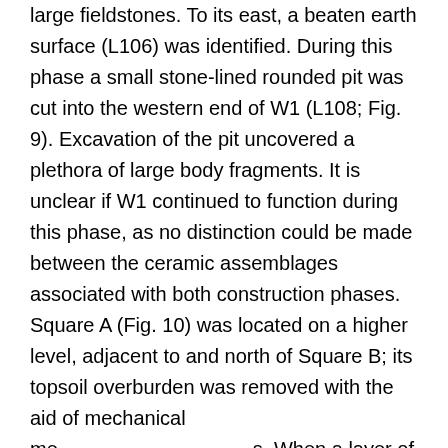large fieldstones. To its east, a beaten earth surface (L106) was identified. During this phase a small stone-lined rounded pit was cut into the western end of W1 (L108; Fig. 9). Excavation of the pit uncovered a plethora of large body fragments. It is unclear if W1 continued to function during this phase, as no distinction could be made between the ceramic assemblages associated with both construction phases. Square A (Fig. 10) was located on a higher level, adjacent to and north of Square B; its topsoil overburden was removed with the aid of mechanical means. When a layer of large and medium-sized stones within a light brown alluvial soil matrix was exposed, manual excavation commenced in the